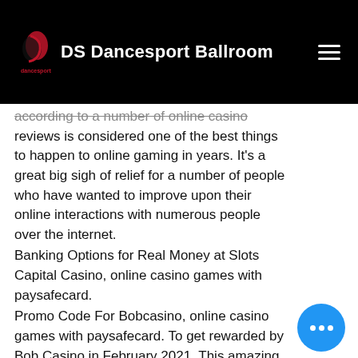DS Dancesport Ballroom
according to a number of online casino reviews is considered one of the best things to happen to online gaming in years. It's a great big sigh of relief for a number of people who have wanted to improve upon their online interactions with numerous people over the internet.
Banking Options for Real Money at Slots Capital Casino, online casino games with paysafecard.
Promo Code For Bobcasino, online casino games with paysafecard. To get rewarded by Bob Casino in February 2021. This amazing Bitcoin gambling offer is only available for a short space of time so do not miss out.
New online casinos tha...